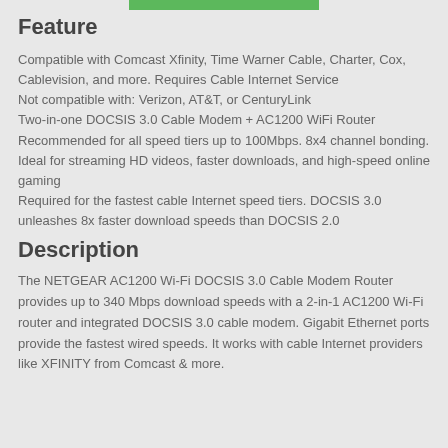[Figure (other): Green horizontal bar at top center]
Feature
Compatible with Comcast Xfinity, Time Warner Cable, Charter, Cox, Cablevision, and more. Requires Cable Internet Service
Not compatible with: Verizon, AT&T, or CenturyLink
Two-in-one DOCSIS 3.0 Cable Modem + AC1200 WiFi Router
Recommended for all speed tiers up to 100Mbps. 8x4 channel bonding.
Ideal for streaming HD videos, faster downloads, and high-speed online gaming
Required for the fastest cable Internet speed tiers. DOCSIS 3.0 unleashes 8x faster download speeds than DOCSIS 2.0
Description
The NETGEAR AC1200 Wi-Fi DOCSIS 3.0 Cable Modem Router provides up to 340 Mbps download speeds with a 2-in-1 AC1200 Wi-Fi router and integrated DOCSIS 3.0 cable modem. Gigabit Ethernet ports provide the fastest wired speeds. It works with cable Internet providers like XFINITY from Comcast & more.